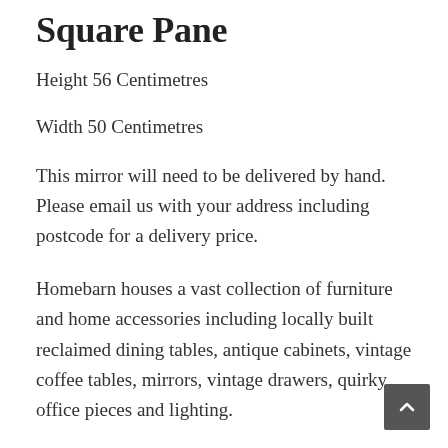Square Pane
Height 56 Centimetres
Width 50 Centimetres
This mirror will need to be delivered by hand. Please email us with your address including postcode for a delivery price.
Homebarn houses a vast collection of furniture and home accessories including locally built reclaimed dining tables, antique cabinets, vintage coffee tables, mirrors, vintage drawers, quirky office pieces and lighting.